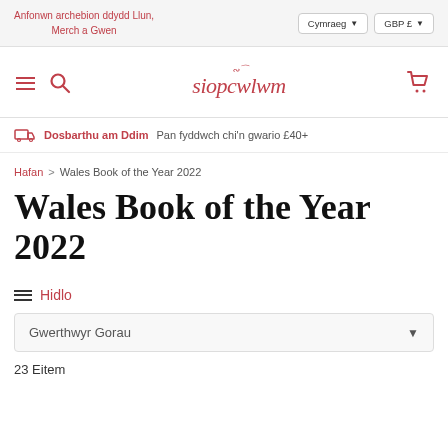Anfonwn archebion ddydd Llun, Merch a Gwen
[Figure (logo): Siop Cwlwm logo with decorative text]
Dosbarthu am Ddim Pan fyddwch chi'n gwario £40+
Hafan > Wales Book of the Year 2022
Wales Book of the Year 2022
Hidlo
Gwerthwyr Gorau
23 Eitem